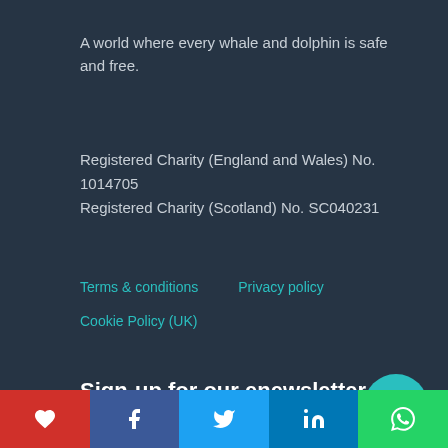A world where every whale and dolphin is safe and free.
Registered Charity (England and Wales) No. 1014705
Registered Charity (Scotland) No. SC040231
Terms & conditions
Privacy policy
Cookie Policy (UK)
Sign-up for our enewsletter
[Figure (infographic): Social sharing bar with heart/like, Facebook, Twitter, LinkedIn, WhatsApp buttons]
[Figure (logo): Teal circular button with envelope/email icon]